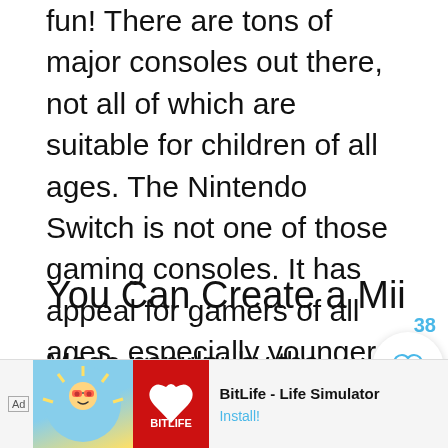fun! There are tons of major consoles out there, not all of which are suitable for children of all ages. The Nintendo Switch is not one of those gaming consoles. It has appeal for gamers of all ages, especially younger ones. Here is why I think it's the best gaming console for kids.
You Can Create a Mii
Made popular by the Nintendo Wii, you can still create your own Mii on the Nintendo Switch, a cartoon video game character meant to look like you. You can customize all sorts of things, like hair, skin color, outfits,
[Figure (other): Ad banner for BitLife - Life Simulator mobile app with cartoon character image and red BitLife logo]